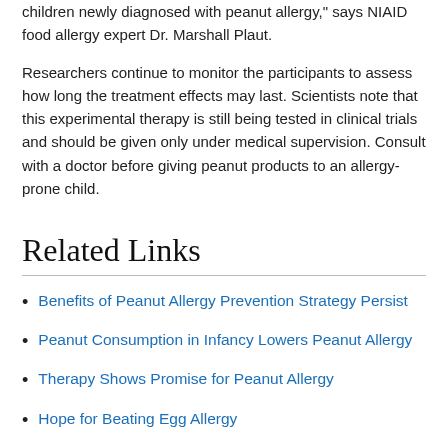children newly diagnosed with peanut allergy," says NIAID food allergy expert Dr. Marshall Plaut.
Researchers continue to monitor the participants to assess how long the treatment effects may last. Scientists note that this experimental therapy is still being tested in clinical trials and should be given only under medical supervision. Consult with a doctor before giving peanut products to an allergy-prone child.
Related Links
Benefits of Peanut Allergy Prevention Strategy Persist
Peanut Consumption in Infancy Lowers Peanut Allergy
Therapy Shows Promise for Peanut Allergy
Hope for Beating Egg Allergy